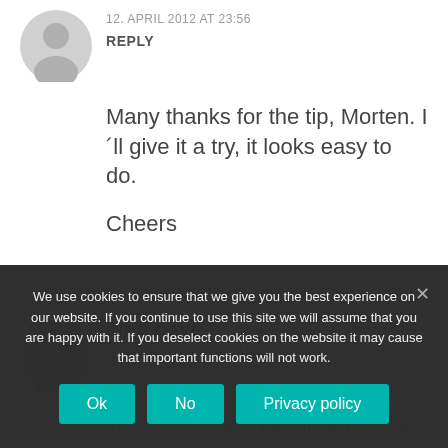12. APRIL 2012 AT 23:56
REPLY
Many thanks for the tip, Morten. I´ll give it a try, it looks easy to do.
Cheers
KING DAVE
28. APRIL 2012 AT 17:41
Will this work on a Green Island Ficus plant?
We use cookies to ensure that we give you the best experience on our website. If you continue to use this site we will assume that you are happy with it. If you deselect cookies on the website it may cause that important functions will not work.